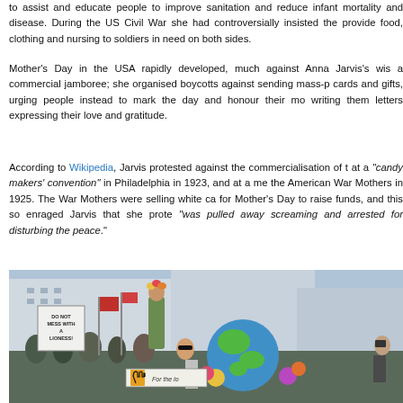to assist and educate people to improve sanitation and reduce infant mortality and disease. During the US Civil War she had controversially insisted the provide food, clothing and nursing to soldiers in need on both sides.
Mother's Day in the USA rapidly developed, much against Anna Jarvis's wishes, into a commercial jamboree; she organised boycotts against sending mass-produced cards and gifts, urging people instead to mark the day and honour their mothers by writing them letters expressing their love and gratitude.
According to Wikipedia, Jarvis protested against the commercialisation of the day at a "candy makers' convention" in Philadelphia in 1923, and at a meeting of the American War Mothers in 1925. The War Mothers were selling white carnations for Mother's Day to raise funds, and this so enraged Jarvis that she protested and "was pulled away screaming and arrested for disturbing the peace".
[Figure (photo): Street protest or parade scene with people holding signs reading 'DO NOT MESS WITH A LIONESS', a woman in a green dress on a float, a large globe prop, colorful flowers, and a banner reading 'For the lo...'. Crowd of protesters in the background.]